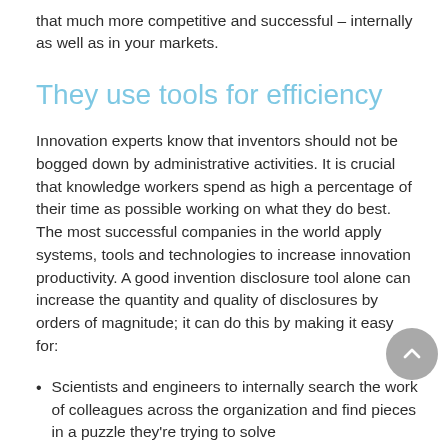that much more competitive and successful – internally as well as in your markets.
They use tools for efficiency
Innovation experts know that inventors should not be bogged down by administrative activities. It is crucial that knowledge workers spend as high a percentage of their time as possible working on what they do best. The most successful companies in the world apply systems, tools and technologies to increase innovation productivity. A good invention disclosure tool alone can increase the quantity and quality of disclosures by orders of magnitude; it can do this by making it easy for:
Scientists and engineers to internally search the work of colleagues across the organization and find pieces in a puzzle they're trying to solve